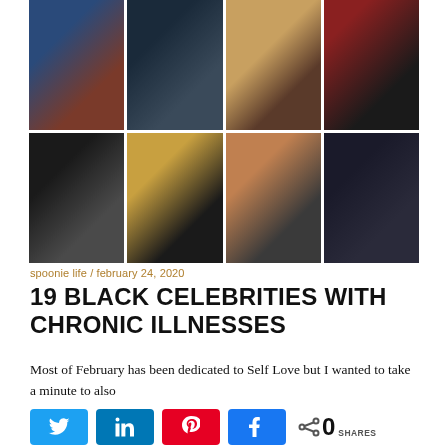[Figure (photo): A 4×2 grid of portrait photos showing 8 Black celebrities]
spoonie life / february 24, 2020
19 BLACK CELEBRITIES WITH CHRONIC ILLNESSES
Most of February has been dedicated to Self Love but I wanted to take a minute to also
0 SHARES